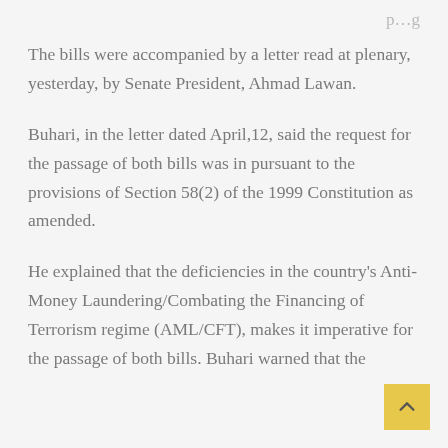p…g
The bills were accompanied by a letter read at plenary, yesterday, by Senate President, Ahmad Lawan.
Buhari, in the letter dated April,12, said the request for the passage of both bills was in pursuant to the provisions of Section 58(2) of the 1999 Constitution as amended.
He explained that the deficiencies in the country's Anti-Money Laundering/Combating the Financing of Terrorism regime (AML/CFT), makes it imperative for the passage of both bills. Buhari warned that the